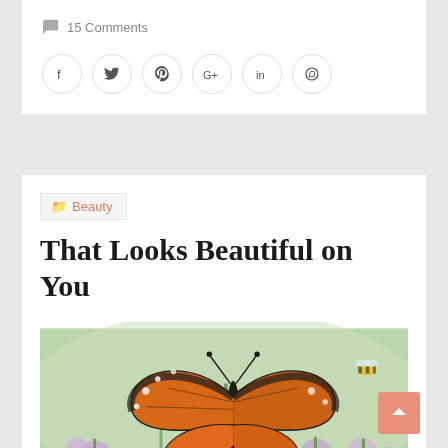15 Comments
[Figure (infographic): Social sharing icons: Facebook, Twitter, Pinterest, Google+, LinkedIn, WhatsApp — each in a circular bordered button]
Beauty
That Looks Beautiful on You
[Figure (photo): A monarch butterfly with orange and black wings resting on purple flowers, with a bee visible in the upper right background. Lush green stems and purple aster-like flowers fill the scene.]